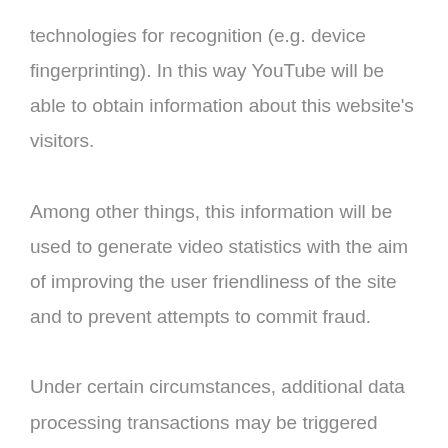technologies for recognition (e.g. device fingerprinting). In this way YouTube will be able to obtain information about this website's visitors. Among other things, this information will be used to generate video statistics with the aim of improving the user friendliness of the site and to prevent attempts to commit fraud.

Under certain circumstances, additional data processing transactions may be triggered after you have started to play a YouTube video, which